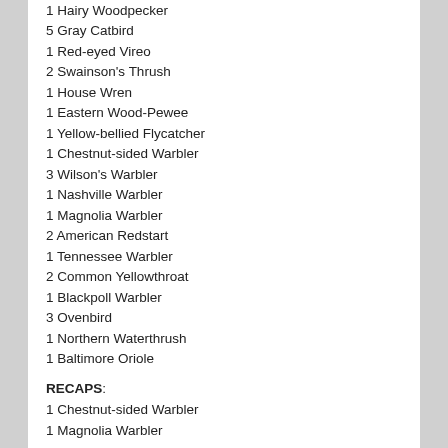1 Hairy Woodpecker
5 Gray Catbird
1 Red-eyed Vireo
2 Swainson's Thrush
1 House Wren
1 Eastern Wood-Pewee
1 Yellow-bellied Flycatcher
1 Chestnut-sided Warbler
3 Wilson's Warbler
1 Nashville Warbler
1 Magnolia Warbler
2 American Redstart
1 Tennessee Warbler
2 Common Yellowthroat
1 Blackpoll Warbler
3 Ovenbird
1 Northern Waterthrush
1 Baltimore Oriole
RECAPS:
1 Chestnut-sided Warbler
1 Magnolia Warbler